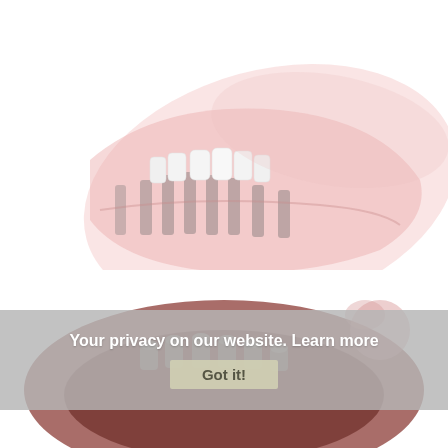[Figure (illustration): Dental illustration showing a transparent pink lower jaw model with white dental implant crowns visible from the front, implant posts visible through the pink transparent gum tissue, viewed from a slightly elevated angle.]
[Figure (illustration): Dental illustration showing a cross-section view of a lower jaw with dental implants, reddish-brown tissue visible, implant posts and abutments visible from below/inside, partially obscured by the privacy overlay banner.]
Your privacy on our website.  Learn more
Got it!